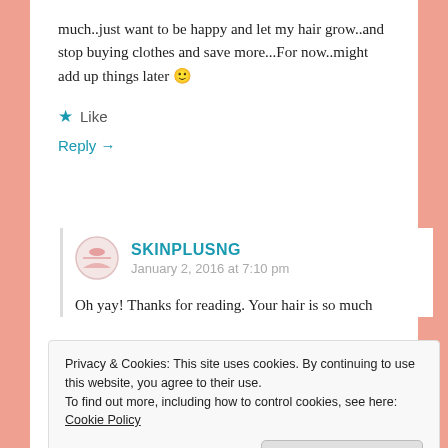much..just want to be happy and let my hair grow..and stop buying clothes and save more...For now..might add up things later 🙂
★ Like
Reply →
SKINPLUSNG
January 2, 2016 at 7:10 pm
Oh yay! Thanks for reading. Your hair is so much
Privacy & Cookies: This site uses cookies. By continuing to use this website, you agree to their use.
To find out more, including how to control cookies, see here: Cookie Policy
Close and accept